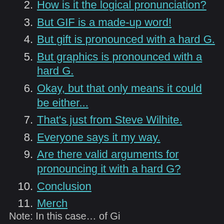2. How is it the logical pronunciation?
3. But GIF is a made-up word!
4. But gift is pronounced with a hard G.
5. But graphics is pronounced with a hard G.
6. Okay, but that only means it could be either...
7. That's just from Steve Wilhite.
8. Everyone says it my way.
9. Are there valid arguments for pronouncing it with a hard G?
10. Conclusion
11. Merch
Note: In this case…